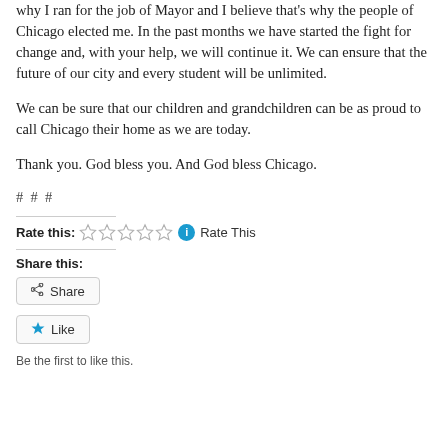why I ran for the job of Mayor and I believe that's why the people of Chicago elected me. In the past months we have started the fight for change and, with your help, we will continue it. We can ensure that the future of our city and every student will be unlimited.
We can be sure that our children and grandchildren can be as proud to call Chicago their home as we are today.
Thank you. God bless you. And God bless Chicago.
# # #
Rate this: [stars] Rate This
Share this:
Share
Like
Be the first to like this.